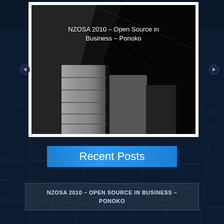[Figure (screenshot): Slideshow image showing architectural black and white photograph of building columns/panels, with slide title 'NZOSA 2010 – Open Source in Business – Ponoko' overlaid in white text. Navigation arrows on left and right sides.]
Recent Posts
NZOSA 2010 – OPEN SOURCE IN BUSINESS – PONOKO